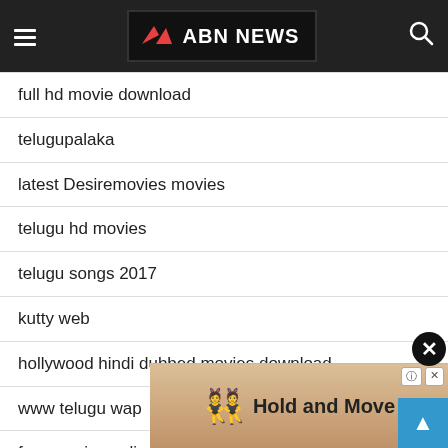ABN NEWS
full hd movie download
telugupalaka
latest Desiremovies movies
telugu hd movies
telugu songs 2017
kutty web
hollywood hindi dubbed movies download
www telugu wap
free movies online
gomovies hd
tamil hd
Desiremovies
Desiremovies net
[Figure (screenshot): Ad overlay showing 'Hold and Move' with cartoon figures on a sandy/wooden background, with close (X) and info (?) buttons]